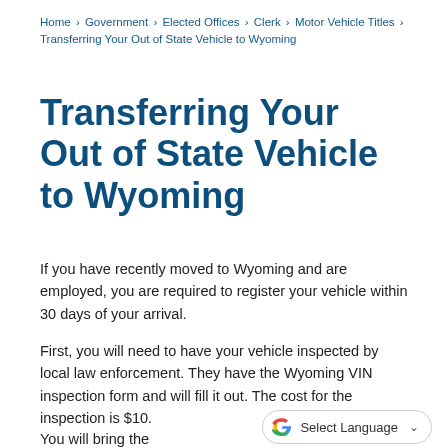Home › Government › Elected Offices › Clerk › Motor Vehicle Titles › Transferring Your Out of State Vehicle to Wyoming
Transferring Your Out of State Vehicle to Wyoming
If you have recently moved to Wyoming and are employed, you are required to register your vehicle within 30 days of your arrival.
First, you will need to have your vehicle inspected by local law enforcement. They have the Wyoming VIN inspection form and will fill it out. The cost for the inspection is $10.
You will bring the VIN inspection to our office
[Figure (other): Google Translate widget with 'Select Language' label and dropdown arrow]